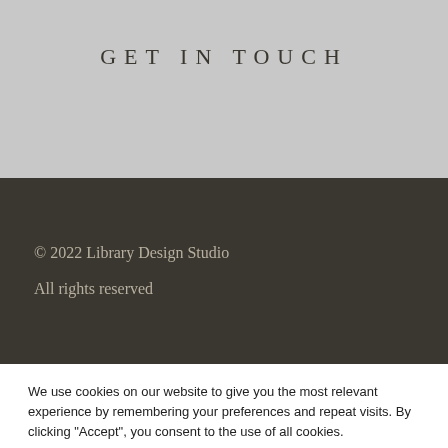GET IN TOUCH
© 2022 Library Design Studio

All rights reserved
We use cookies on our website to give you the most relevant experience by remembering your preferences and repeat visits. By clicking “Accept”, you consent to the use of all cookies.
Read More
ACCEPT